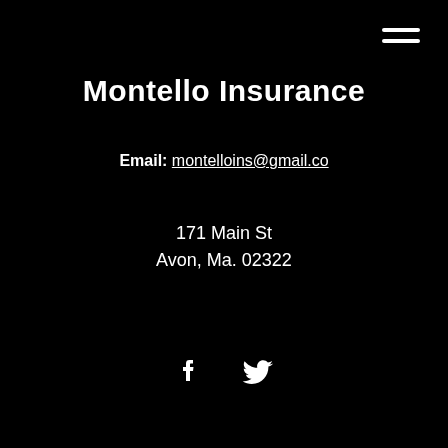[Figure (other): Hamburger menu icon — three horizontal white lines in top right corner]
Montello Insurance
Email: montelloins@gmail.co
171 Main St
Avon, Ma. 02322
[Figure (logo): Social media icons: Facebook (f) and Twitter (bird) in white]